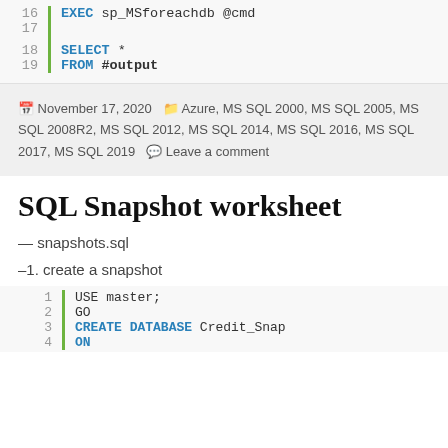[Figure (screenshot): Code block showing SQL lines 16-19: EXEC sp_MSforeachdb @cmd, SELECT *, FROM #output with green left border and line numbers]
November 17, 2020   Azure, MS SQL 2000, MS SQL 2005, MS SQL 2008R2, MS SQL 2012, MS SQL 2014, MS SQL 2016, MS SQL 2017, MS SQL 2019   Leave a comment
SQL Snapshot worksheet
— snapshots.sql
–1. create a snapshot
[Figure (screenshot): Code block showing SQL lines 1-4: USE master; GO, CREATE DATABASE Credit_Snap, ON with green left border and line numbers]